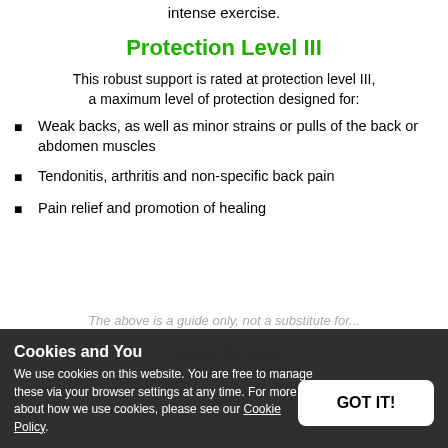intense exercise.
Protection Level III
This robust support is rated at protection level III, a maximum level of protection designed for:
Weak backs, as well as minor strains or pulls of the back or abdomen muscles
Tendonitis, arthritis and non-specific back pain
Pain relief and promotion of healing
The above is a guide only, not a substitute for... doctor for injury diagnosis and treatment.
Cookies and You
We use cookies on this website. You are free to manage these via your browser settings at any time. For more about how we use cookies, please see our Cookie Policy.